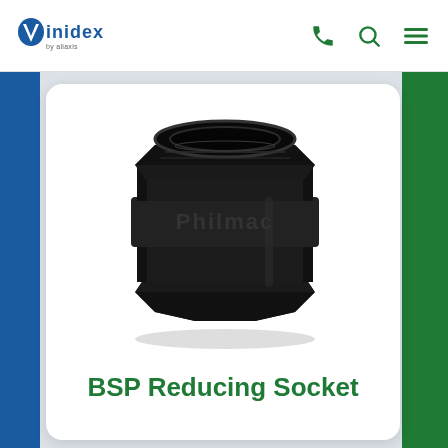Vinidex by aliaxis
[Figure (photo): Black Philmac BSP Reducing Socket fitting, a cylindrical threaded plumbing connector with hexagonal gripping sections on both ends and the brand name 'Philmac' embossed on the body]
BSP Reducing Socket